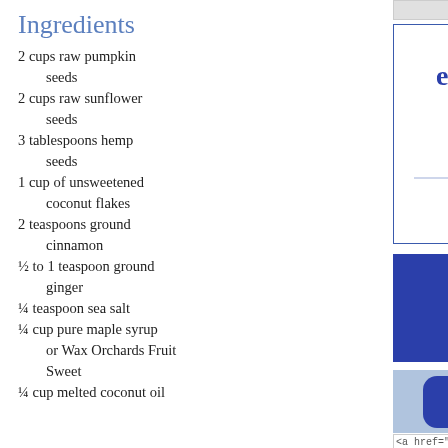Ingredients
2 cups raw pumpkin seeds
2 cups raw sunflower seeds
3 tablespoons hemp seeds
1 cup of unsweetened coconut flakes
2 teaspoons ground cinnamon
½ to 1 teaspoon ground ginger
¼ teaspoon sea salt
¼ cup pure maple syrup or Wax Orchards Fruit Sweet
¼ cup melted coconut oil
[Figure (illustration): Blue-bordered box with quote: 'So whether you eat or drink or whatever you do, do it for the glory of God. 1 Corinthians 10:31']
[Figure (illustration): Blue button with white text: 'Grab My Button']
[Figure (illustration): Blue and white checkered background with blue badge saying 'deliciously inspired' and crossed utensils]
<a href="http://www.delic